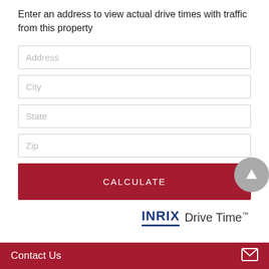Enter an address to view actual drive times with traffic from this property
[Figure (screenshot): Address input field (empty, placeholder text 'Address')]
[Figure (screenshot): City input field (empty, placeholder text 'City')]
[Figure (screenshot): State input field (empty, placeholder text 'State')]
[Figure (screenshot): Zip input field (empty, placeholder text 'Zip')]
[Figure (screenshot): CALCULATE button in dark red]
[Figure (logo): INRIX Drive Time trademark logo]
Contact Us